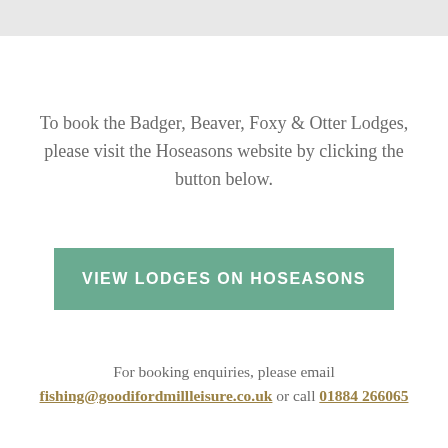To book the Badger, Beaver, Foxy & Otter Lodges, please visit the Hoseasons website by clicking the button below.
[Figure (other): Green button labeled 'VIEW LODGES ON HOSEASONS']
For booking enquiries, please email fishing@goodifordmillleisure.co.uk or call 01884 266065